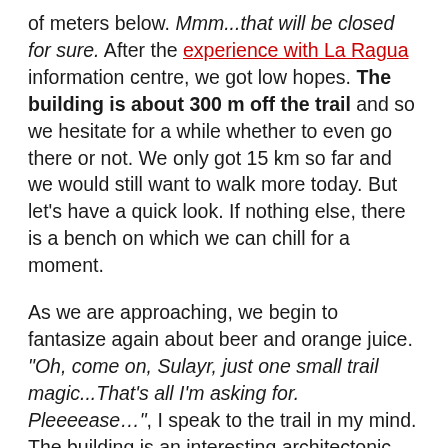of meters below. Mmm...that will be closed for sure. After the experience with La Ragua information centre, we got low hopes. The building is about 300 m off the trail and so we hesitate for a while whether to even go there or not. We only got 15 km so far and we would still want to walk more today. But let's have a quick look. If nothing else, there is a bench on which we can chill for a moment.
As we are approaching, we begin to fantasize again about beer and orange juice. "Oh, come on, Sulayr, just one small trail magic...That's all I'm asking for. Pleeeease...", I speak to the trail in my mind. The building is an interesting architectonic piece – star-shaped stoney construction likely used as a dormitory. There's a wooden door in each corner